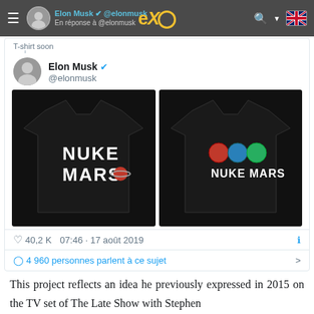[Figure (screenshot): Screenshot of a tweet by Elon Musk showing two 'Nuke Mars' t-shirts on black background. The tweet shows 40.2K likes, posted at 07:46 on 17 août 2019, with 4 960 people discussing it.]
This project reflects an idea he previously expressed in 2015 on the TV set of The Late Show with Stephen